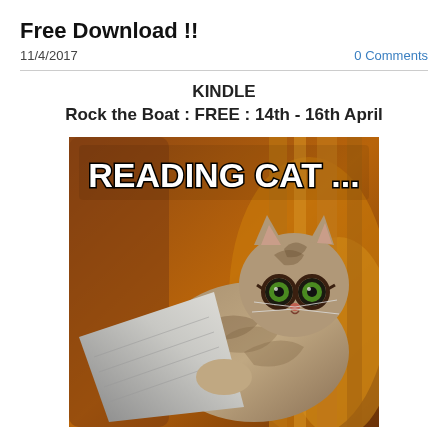Free Download !!
11/4/2017
0 Comments
KINDLE
Rock the Boat : FREE : 14th - 16th April
[Figure (photo): Meme image of a cat wearing glasses and reading a newspaper on a couch, with text overlay reading 'READING CAT ...']